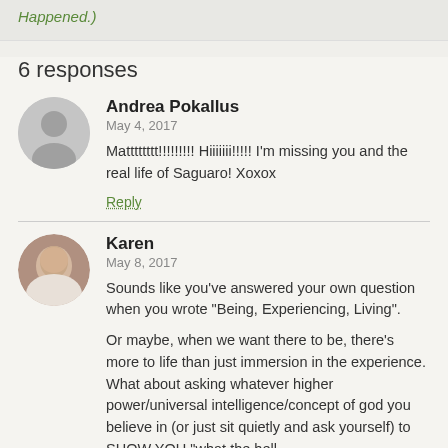Happened.)
6 responses
Andrea Pokallus
May 4, 2017
Matttttttt!!!!!!!!! Hiiiiiii!!!!! I'm missing you and the real life of Saguaro! Xoxox
Reply
Karen
May 8, 2017
Sounds like you've answered your own question when you wrote "Being, Experiencing, Living".
Or maybe, when we want there to be, there's more to life than just immersion in the experience. What about asking whatever higher power/universal intelligence/concept of god you believe in (or just sit quietly and ask yourself) to SHOW YOU "what the hell